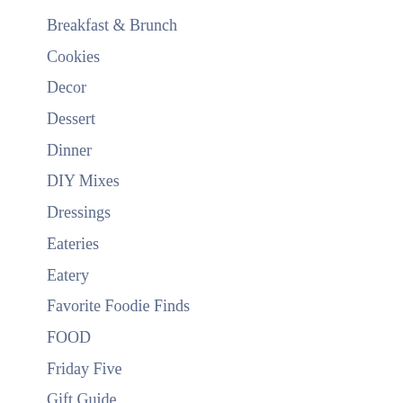Breakfast & Brunch
Cookies
Decor
Dessert
Dinner
DIY Mixes
Dressings
Eateries
Eatery
Favorite Foodie Finds
FOOD
Friday Five
Gift Guide